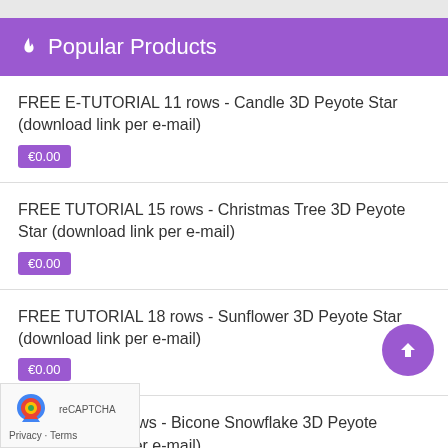🔥 Popular Products
FREE E-TUTORIAL 11 rows - Candle 3D Peyote Star (download link per e-mail)
€0.00
FREE TUTORIAL 15 rows - Christmas Tree 3D Peyote Star (download link per e-mail)
€0.00
FREE TUTORIAL 18 rows - Sunflower 3D Peyote Star (download link per e-mail)
€0.00
TUTORIAL 20 rows - Bicone Snowflake 3D Peyote (download link per e-mail)
€0.00